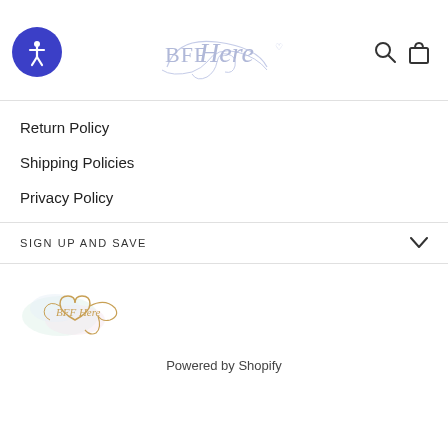BFF Here [logo with accessibility icon, search, and cart icons]
Return Policy
Shipping Policies
Privacy Policy
SIGN UP AND SAVE
[Figure (logo): BFF Here logo with heart and swirl design in gold/tan color with pastel watercolor background]
Powered by Shopify